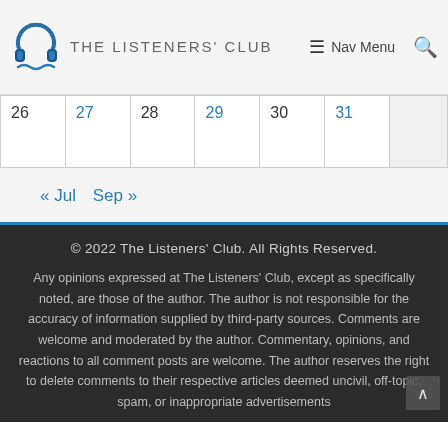THE LISTENERS' CLUB  ≡ Nav Menu  🔍
| 26 | 27 | 28 | 29 | 30 | 31 |  |
« Jul   Sep »
© 2022 The Listeners' Club. All Rights Reserved.

Any opinions expressed at The Listeners' Club, except as specifically noted, are those of the author. The author is not responsible for the accuracy of information supplied by third-party sources. Comments are welcome and moderated by the author. Commentary, opinions, and reactions to all comment posts are welcome. The author reserves the right to delete comments to their respective articles deemed uncivil, off-topic, spam, or inappropriate advertisements